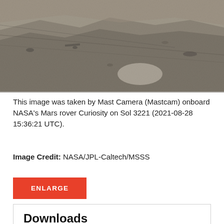[Figure (photo): Grayscale image of Mars surface taken by Mast Camera (Mastcam) onboard NASA's Mars rover Curiosity on Sol 3221. Shows rocky, sandy Martian terrain with diagonal striations and scattered rocks.]
This image was taken by Mast Camera (Mastcam) onboard NASA's Mars rover Curiosity on Sol 3221 (2021-08-28 15:36:21 UTC).
Image Credit: NASA/JPL-Caltech/MSSS
Downloads
Sol 3221: Mast Camera (Mastcam)